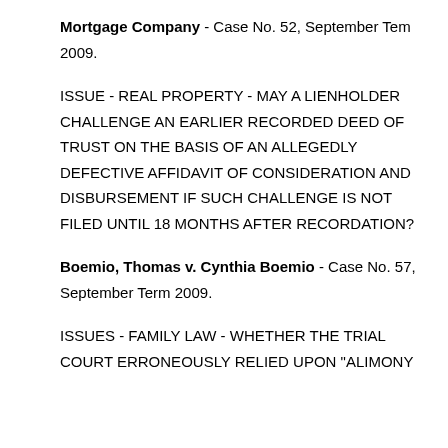Mortgage Company - Case No. 52, September Term 2009.
ISSUE - REAL PROPERTY - MAY A LIENHOLDER CHALLENGE AN EARLIER RECORDED DEED OF TRUST ON THE BASIS OF AN ALLEGEDLY DEFECTIVE AFFIDAVIT OF CONSIDERATION AND DISBURSEMENT IF SUCH CHALLENGE IS NOT FILED UNTIL 18 MONTHS AFTER RECORDATION?
Boemio, Thomas v. Cynthia Boemio - Case No. 57, September Term 2009.
ISSUES - FAMILY LAW - WHETHER THE TRIAL COURT ERRONEOUSLY RELIED UPON "ALIMONY